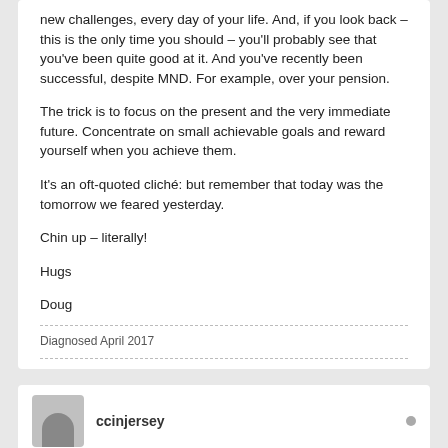new challenges, every day of your life. And, if you look back – this is the only time you should – you'll probably see that you've been quite good at it. And you've recently been successful, despite MND. For example, over your pension.
The trick is to focus on the present and the very immediate future. Concentrate on small achievable goals and reward yourself when you achieve them.
It's an oft-quoted cliché: but remember that today was the tomorrow we feared yesterday.
Chin up – literally!
Hugs
Doug
Diagnosed April 2017
ccinjersey